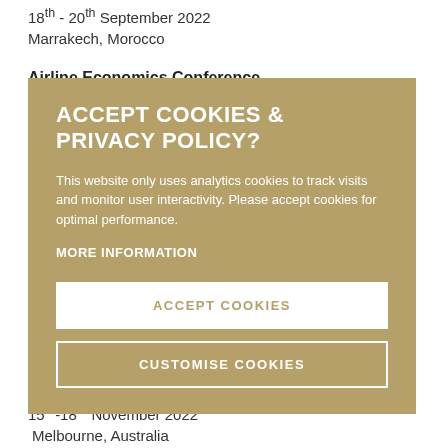18th - 20th September 2022
Marrakech, Morocco
Airline Economics Conference
[Figure (screenshot): Cookie consent modal overlay with gold/tan background. Title: ACCEPT COOKIES & PRIVACY POLICY? Body text explaining analytics cookies. MORE INFORMATION link. Two buttons: ACCEPT COOKIES (white background) and CUSTOMISE COOKIES (outlined).]
151st Slot Conference IATA
15th-18th November 2022
Melbourne, Australia